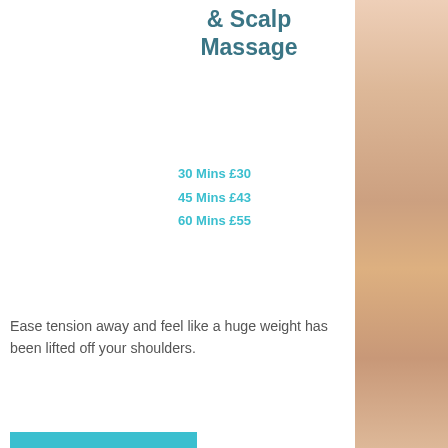& Scalp Massage
30 Mins £30
45 Mins £43
60 Mins £55
Ease tension away and feel like a huge weight has been lifted off your shoulders.
[Figure (photo): Book Now button (teal/cyan colored button)]
[Figure (photo): Close-up photo of hands performing a massage on shoulders/upper back area]
[Figure (photo): Close-up photo of hands massaging a person's back or shoulder with oil]
[Figure (photo): Skin/body photo strip on the right side of the page]